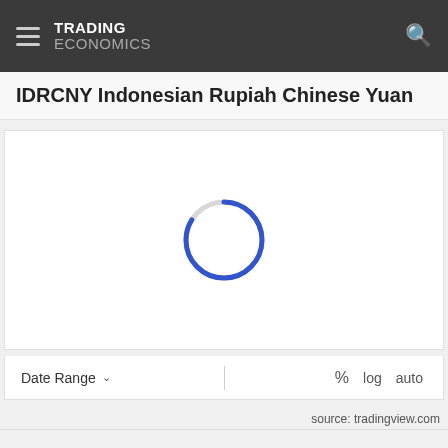TRADING ECONOMICS
IDRCNY Indonesian Rupiah Chinese Yuan
[Figure (other): Loading spinner (circular arc, partially blue on top-right and light gray on bottom-left) indicating a chart is loading for IDRCNY Indonesian Rupiah to Chinese Yuan exchange rate data.]
Date Range ∨   %   log   auto
source: tradingview.com